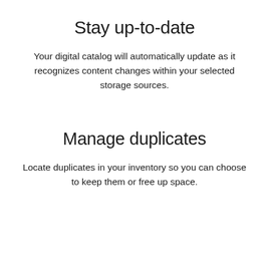Stay up-to-date
Your digital catalog will automatically update as it recognizes content changes within your selected storage sources.
Manage duplicates
Locate duplicates in your inventory so you can choose to keep them or free up space.